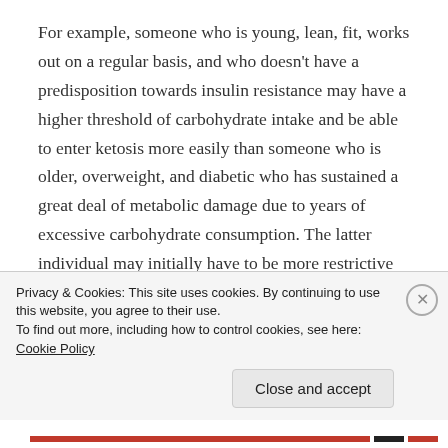For example, someone who is young, lean, fit, works out on a regular basis, and who doesn't have a predisposition towards insulin resistance may have a higher threshold of carbohydrate intake and be able to enter ketosis more easily than someone who is older, overweight, and diabetic who has sustained a great deal of metabolic damage due to years of excessive carbohydrate consumption. The latter individual may initially have to be more restrictive about their carb intake in order to induce nutritional ketosis (essentially, those with insulin resistance can sort of be viewed as
Privacy & Cookies: This site uses cookies. By continuing to use this website, you agree to their use.
To find out more, including how to control cookies, see here: Cookie Policy
Close and accept